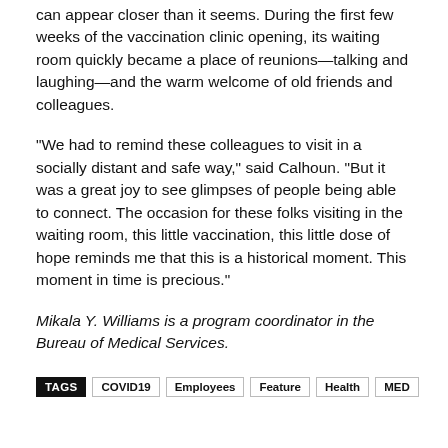can appear closer than it seems. During the first few weeks of the vaccination clinic opening, its waiting room quickly became a place of reunions—talking and laughing—and the warm welcome of old friends and colleagues.
“We had to remind these colleagues to visit in a socially distant and safe way,” said Calhoun. “But it was a great joy to see glimpses of people being able to connect. The occasion for these folks visiting in the waiting room, this little vaccination, this little dose of hope reminds me that this is a historical moment. This moment in time is precious.”
Mikala Y. Williams is a program coordinator in the Bureau of Medical Services.
TAGS  COVID19  Employees  Feature  Health  MED